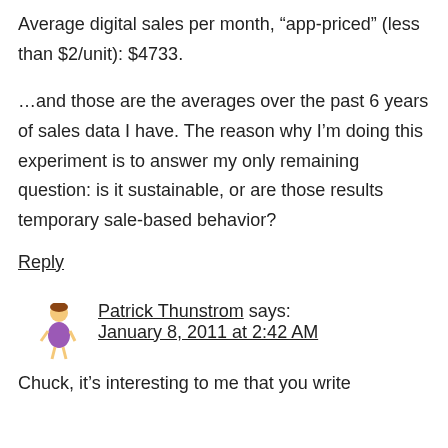Average digital sales per month, “app-priced” (less than $2/unit): $4733.
…and those are the averages over the past 6 years of sales data I have. The reason why I’m doing this experiment is to answer my only remaining question: is it sustainable, or are those results temporary sale-based behavior?
Reply
Patrick Thunstrom says:
January 8, 2011 at 2:42 AM
Chuck, it’s interesting to me that you write